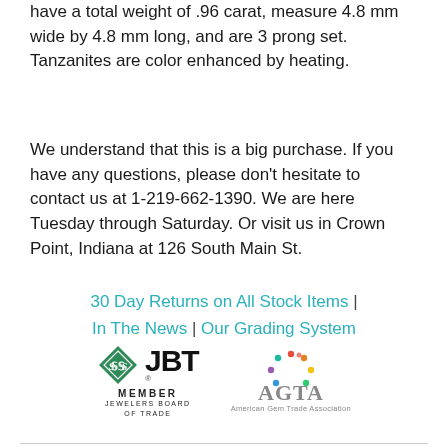have a total weight of .96 carat, measure 4.8 mm wide by 4.8 mm long, and are 3 prong set. Tanzanites are color enhanced by heating.
We understand that this is a big purchase. If you have any questions, please don't hesitate to contact us at 1-219-662-1390. We are here Tuesday through Saturday. Or visit us in Crown Point, Indiana at 126 South Main St.
30 Day Returns on All Stock Items | In The News | Our Grading System
[Figure (logo): JBT Member Jewelers Board of Trade logo — green diamond shape with stylized SS, beside bold JBT text with registered trademark, and MEMBER JEWELERS BOARD OF TRADE text below]
[Figure (logo): AGTA American Gem Trade Association logo — circular arrangement of colorful dots above AGTA text in gray serif font, with American Gem Trade Association below]